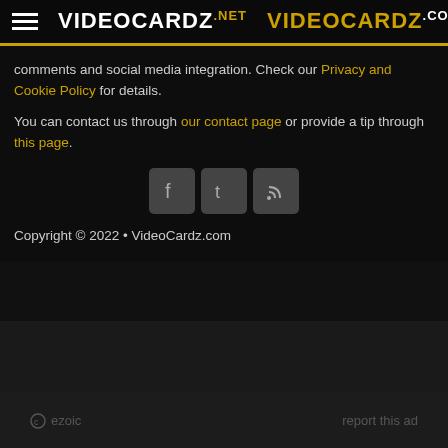VIDEOCARDZ.NET  VIDEOCARDZ.COM
comments and social media integration. Check our Privacy and Cookie Policy for details.
You can contact us through our contact page or provide a tip through this page.
[Figure (other): Social media icons: Facebook, Twitter, RSS feed]
Copyright © 2022 • VideoCardz.com
© ezoic   report this ad